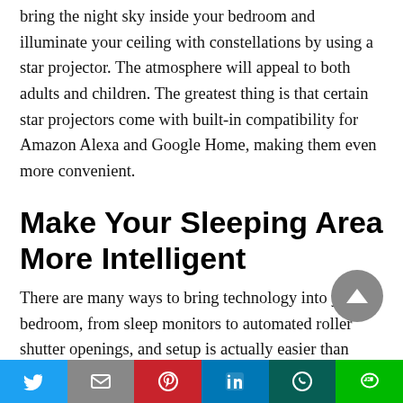bring the night sky inside your bedroom and illuminate your ceiling with constellations by using a star projector. The atmosphere will appeal to both adults and children. The greatest thing is that certain star projectors come with built-in compatibility for Amazon Alexa and Google Home, making them even more convenient.
Make Your Sleeping Area More Intelligent
There are many ways to bring technology into your bedroom, from sleep monitors to automated roller shutter openings, and setup is actually easier than
Twitter | Mail | Pinterest | LinkedIn | WhatsApp | Line